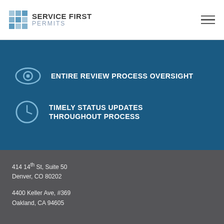Service First Permits
ENTIRE REVIEW PROCESS OVERSIGHT
TIMELY STATUS UPDATES THROUGHOUT PROCESS
414 14th St, Suite 50
Denver, CO 80202
4400 Keller Ave, #369
Oakland, CA 94605